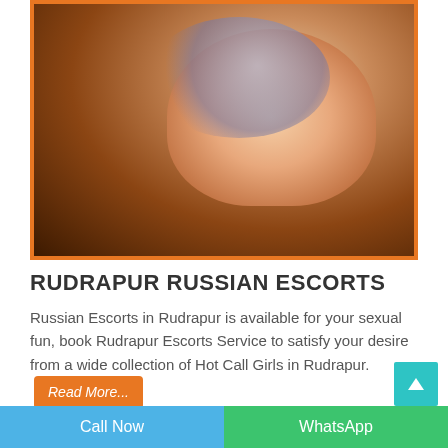[Figure (photo): Young woman with large round sunglasses, pink lipstick, long brown hair, wearing colorful top, close-up portrait selfie style]
RUDRAPUR RUSSIAN ESCORTS
Russian Escorts in Rudrapur is available for your sexual fun, book Rudrapur Escorts Service to satisfy your desire from a wide collection of Hot Call Girls in Rudrapur. Read More...
Call Now | WhatsApp